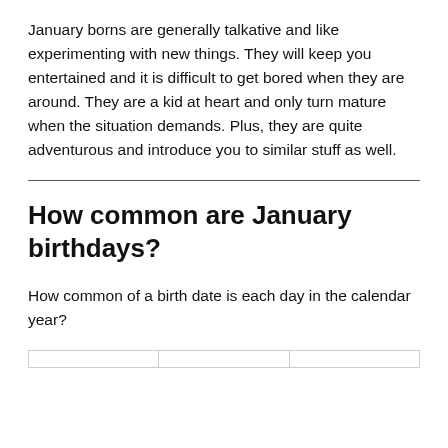January borns are generally talkative and like experimenting with new things. They will keep you entertained and it is difficult to get bored when they are around. They are a kid at heart and only turn mature when the situation demands. Plus, they are quite adventurous and introduce you to similar stuff as well.
How common are January birthdays?
How common of a birth date is each day in the calendar year?
|  |  |  |